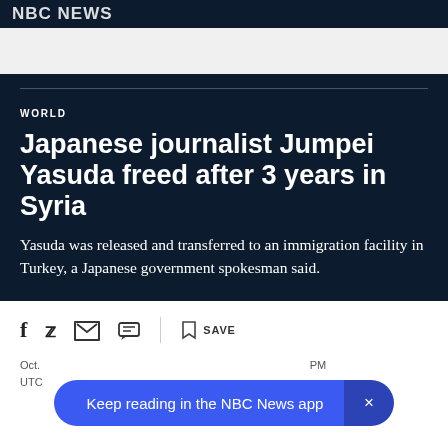NBC NEWS
WORLD
Japanese journalist Jumpei Yasuda freed after 3 years in Syria
Yasuda was released and transferred to an immigration facility in Turkey, a Japanese government spokesman said.
Oct. ... PM UTC
Keep reading in the NBC News app